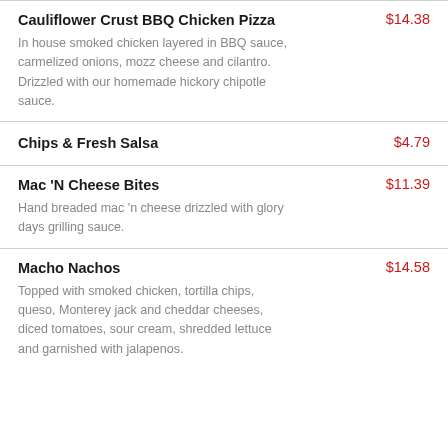Cauliflower Crust BBQ Chicken Pizza $14.38 — In house smoked chicken layered in BBQ sauce, carmelized onions, mozz cheese and cilantro. Drizzled with our homemade hickory chipotle sauce.
Chips & Fresh Salsa $4.79
Mac 'N Cheese Bites $11.39 — Hand breaded mac 'n cheese drizzled with glory days grilling sauce.
Macho Nachos $14.58 — Topped with smoked chicken, tortilla chips, queso, Monterey jack and cheddar cheeses, diced tomatoes, sour cream, shredded lettuce and garnished with jalapenos.